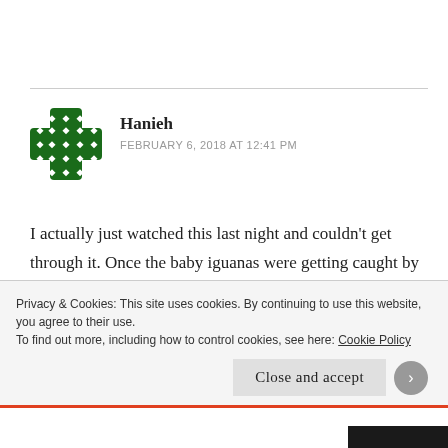[Figure (illustration): Green avatar icon with white diamond pattern, cross/plus shaped, representing user Hanieh]
Hanieh
FEBRUARY 6, 2018 AT 12:41 PM
I actually just watched this last night and couldn't get through it. Once the baby iguanas were getting caught by all those horrible snakes I was like whoa, I'm done...so much pain and suffering for all creatures. It can be so overwhelming.
Privacy & Cookies: This site uses cookies. By continuing to use this website, you agree to their use.
To find out more, including how to control cookies, see here: Cookie Policy
Close and accept